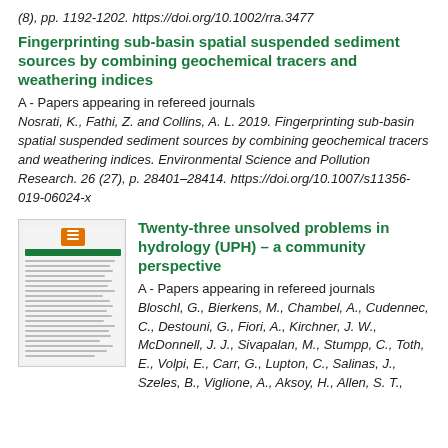(8), pp. 1192-1202. https://doi.org/10.1002/rra.3477
Fingerprinting sub-basin spatial suspended sediment sources by combining geochemical tracers and weathering indices
A - Papers appearing in refereed journals
Nosrati, K., Fathi, Z. and Collins, A. L. 2019. Fingerprinting sub-basin spatial suspended sediment sources by combining geochemical tracers and weathering indices. Environmental Science and Pollution Research. 26 (27), p. 28401–28414. https://doi.org/10.1007/s11356-019-06024-x
[Figure (other): Thumbnail image of a journal article page]
Twenty-three unsolved problems in hydrology (UPH) – a community perspective
A - Papers appearing in refereed journals
Bloschl, G., Bierkens, M., Chambel, A., Cudennec, C., Destouni, G., Fiori, A., Kirchner, J. W., McDonnell, J. J., Sivapalan, M., Stumpp, C., Toth, E., Volpi, E., Carr, G., Lupton, C., Salinas, J., Szeles, B., Viglione, A., Aksoy, H., Allen, S. T.,